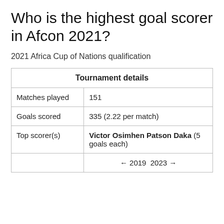Who is the highest goal scorer in Afcon 2021?
2021 Africa Cup of Nations qualification
| Tournament details |
| --- |
| Matches played | 151 |
| Goals scored | 335 (2.22 per match) |
| Top scorer(s) | Victor Osimhen Patson Daka (5 goals each) |
|  | ← 2019  2023 → |